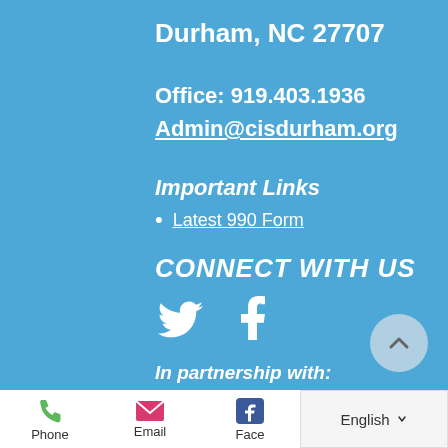Durham, NC 27707
Office: 919.403.1936
Admin@cisdurham.org
Important Links
Latest 990 Form
CONNECT WITH US
[Figure (illustration): Twitter and Facebook social media icons in white]
In partnership with:
Phone   Email   Face[book]   English >